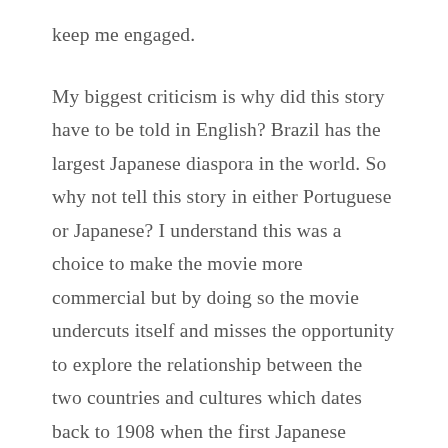keep me engaged.

My biggest criticism is why did this story have to be told in English? Brazil has the largest Japanese diaspora in the world. So why not tell this story in either Portuguese or Japanese? I understand this was a choice to make the movie more commercial but by doing so the movie undercuts itself and misses the opportunity to explore the relationship between the two countries and cultures which dates back to 1908 when the first Japanese immigrants arrived in Brazil. In this picture we don't even get to know why or how the characters wound up in Brazil in the first place. Yakuza Princess scores major style points and signals a new and exciting direction full of stylistic freedom that is